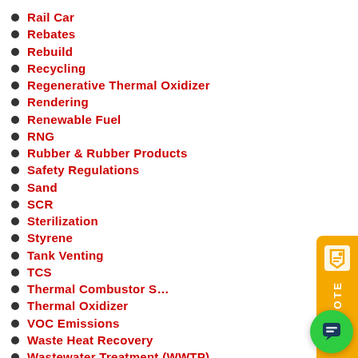Rail Car
Rebates
Rebuild
Recycling
Regenerative Thermal Oxidizer
Rendering
Renewable Fuel
RNG
Rubber & Rubber Products
Safety Regulations
Sand
SCR
Sterilization
Styrene
Tank Venting
TCS
Thermal Combustor S…
Thermal Oxidizer
VOC Emissions
Waste Heat Recovery
Wastewater Treatment (WWTP)
Web Coating
[Figure (screenshot): Orange QUOTE button on right side with quote/tag icon and vertical QUOTE text]
[Figure (screenshot): Chat popup with red circular icon showing recycling/chat symbol, close X button, and text 'How can we assist you with your Air Pollution Control needs?']
[Figure (screenshot): Green circular chat button in bottom right corner with speech bubble icon]